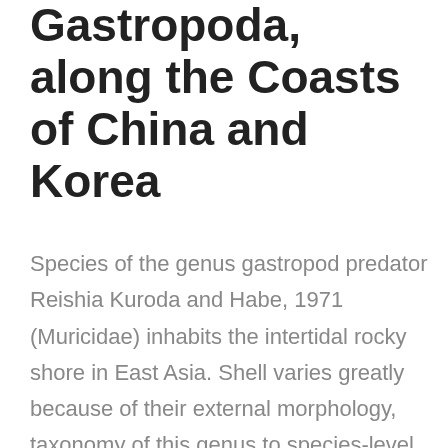Gastropoda, along the Coasts of China and Korea
Species of the genus gastropod predator Reishia Kuroda and Habe, 1971 (Muricidae) inhabits the intertidal rocky shore in East Asia. Shell varies greatly because of their external morphology, taxonomy of this genus to species-level is still in need of re-evaluation. Using DNA-based methods of delimitation, we aim to ensure Reishia number of species